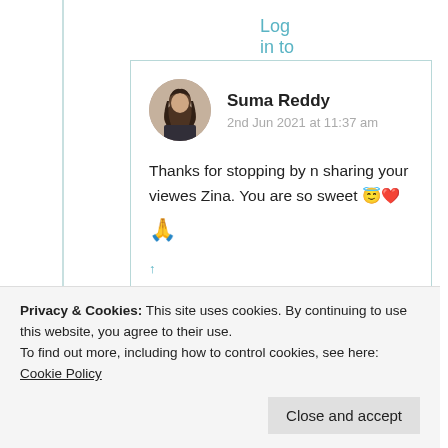Log in to Reply
[Figure (photo): Circular avatar photo of Suma Reddy, a woman with dark hair]
Suma Reddy
2nd Jun 2021 at 11:37 am
Thanks for stopping by n sharing your viewes Zina. You are so sweet 😇❤️ 🙏
Privacy & Cookies: This site uses cookies. By continuing to use this website, you agree to their use. To find out more, including how to control cookies, see here: Cookie Policy
Close and accept